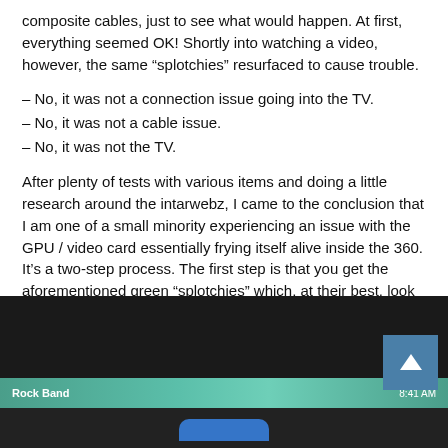composite cables, just to see what would happen. At first, everything seemed OK! Shortly into watching a video, however, the same “splotchies” resurfaced to cause trouble.
– No, it was not a connection issue going into the TV.
– No, it was not a cable issue.
– No, it was not the TV.
After plenty of tests with various items and doing a little research around the intarwebz, I came to the conclusion that I am one of a small minority experiencing an issue with the GPU / video card essentially frying itself alive inside the 360. It’s a two-step process. The first step is that you get the aforementioned green “splotchies” which, at their best, look like this:
[Figure (screenshot): Screenshot of a TV display showing a dark screen with a teal/green Xbox 360 dashboard bar reading 'Rock Band' on the left and '8:41 AM' on the right, with a blue scroll-to-top button in the lower right corner.]